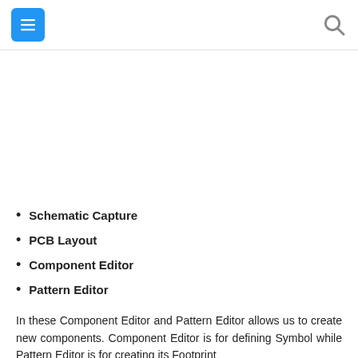Menu / Search header bar
Schematic Capture
PCB Layout
Component Editor
Pattern Editor
In these Component Editor and Pattern Editor allows us to create new components. Component Editor is for defining Symbol while Pattern Editor is for creating its Footprint